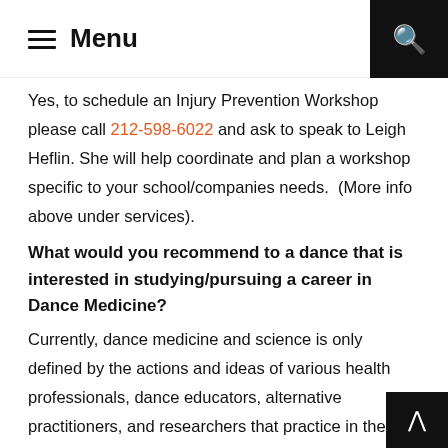Menu
Yes, to schedule an Injury Prevention Workshop please call 212-598-6022 and ask to speak to Leigh Heflin. She will help coordinate and plan a workshop specific to your school/companies needs. (More info above under services).
What would you recommend to a dance that is interested in studying/pursuing a career in Dance Medicine?
Currently, dance medicine and science is only defined by the actions and ideas of various health professionals, dance educators, alternative practitioners, and researchers that practice in the area of dancer health. Each discipline brings a unique perspective and body of knowledge to the health concerns of dancers. This diversity of perspectives is rightly perceived as a strength. However, this diversity prevents a simple answer to the question, “How can I learn about dan…